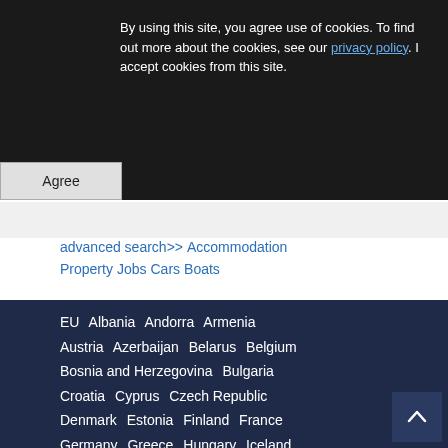By using this site, you agree use of cookies. To find out more about the cookies, see our privacy policy. I accept cookies from this site.
Agree
advanced search>> Accommodation  Property  Jobs  Cars  Boats
EU  Albania  Andorra  Armenia
Austria  Azerbaijan  Belarus  Belgium
Bosnia and Herzegovina  Bulgaria
Croatia  Cyprus  Czech Republic
Denmark  Estonia  Finland  France
Germany  Greece  Hungary Iceland
Ireland  Italy  Kazakhstan  Latvia
Liechtenstein  Lithuania  Luxembourg
Malta Modova  Monaco  Montenegro